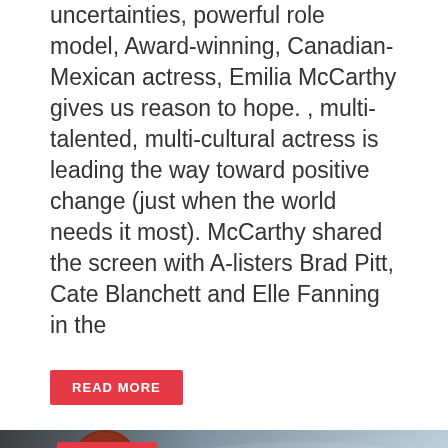uncertainties, powerful role model, Award-winning, Canadian-Mexican actress, Emilia McCarthy gives us reason to hope. , multi-talented, multi-cultural actress is leading the way toward positive change (just when the world needs it most).  McCarthy shared the screen with A-listers Brad Pitt, Cate Blanchett and Elle Fanning in the
READ MORE
[Figure (photo): Movie banner for 'Three Thousand Years of Longing' - A George Miller Film, starring Idris Elba and Tilda Swinton. Shows two figures (one in red hooded cloak in background, one woman with red hair in foreground) against a stormy sky background. Tag 'MAJORS' in red. Tagline: 'What would you wish for?']